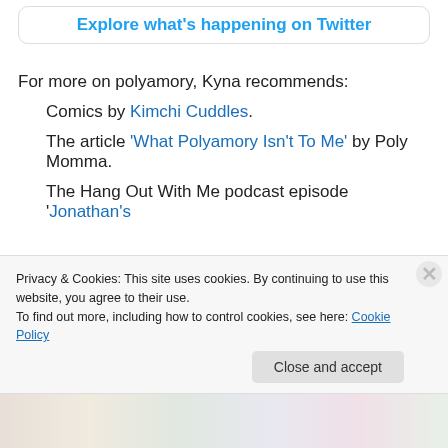[Figure (screenshot): Twitter explore button inside a rounded rectangle box with blue link text 'Explore what's happening on Twitter']
For more on polyamory, Kyna recommends:
Comics by Kimchi Cuddles.
The article 'What Polyamory Isn't To Me' by Poly Momma.
The Hang Out With Me podcast episode 'Jonathan's
Privacy & Cookies: This site uses cookies. By continuing to use this website, you agree to their use.
To find out more, including how to control cookies, see here: Cookie Policy
[Figure (screenshot): Close and accept button for cookie consent dialog]